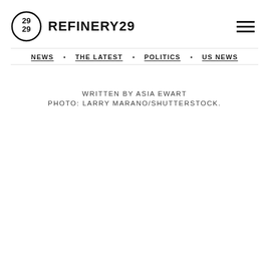REFINERY29
NEWS · THE LATEST · POLITICS · US NEWS
WRITTEN BY ASIA EWART
PHOTO: LARRY MARANO/SHUTTERSTOCK.